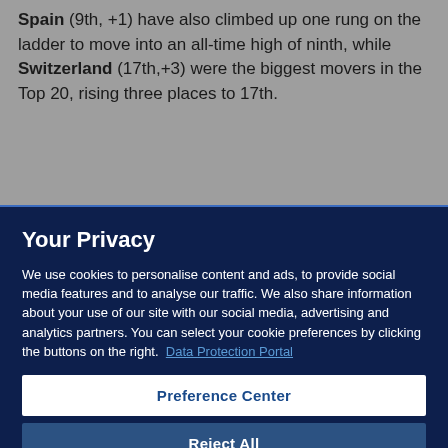Spain (9th, +1) have also climbed up one rung on the ladder to move into an all-time high of ninth, while Switzerland (17th,+3) were the biggest movers in the Top 20, rising three places to 17th.
Your Privacy
We use cookies to personalise content and ads, to provide social media features and to analyse our traffic. We also share information about your use of our site with our social media, advertising and analytics partners. You can select your cookie preferences by clicking the buttons on the right.  Data Protection Portal
Preference Center
Reject All
I'm OK with that